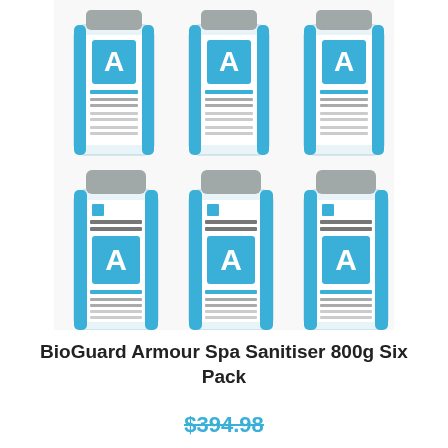[Figure (photo): Six bottles of BioGuard Armour Spa Sanitiser 800g arranged in two rows of three. Each bottle is white with a light blue label featuring a blue square with the letter A and text reading Armour Spa Sanitiser & Cleanser.]
BioGuard Armour Spa Sanitiser 800g Six Pack
$394.98